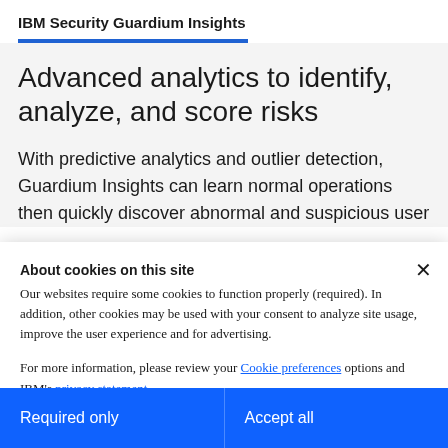IBM Security Guardium Insights
Advanced analytics to identify, analyze, and score risks
With predictive analytics and outlier detection, Guardium Insights can learn normal operations then quickly discover abnormal and suspicious user
About cookies on this site
Our websites require some cookies to function properly (required). In addition, other cookies may be used with your consent to analyze site usage, improve the user experience and for advertising.

For more information, please review your Cookie preferences options and IBM's privacy statement.
Required only
Accept all